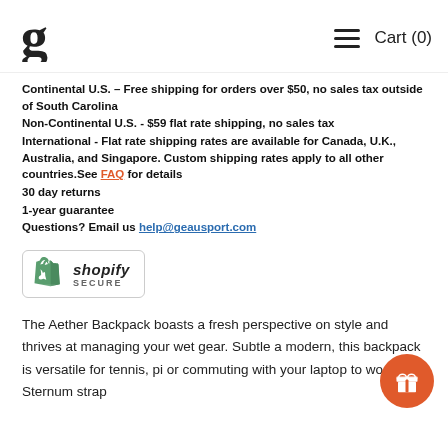g [logo] Cart (0)
Continental U.S. – Free shipping for orders over $50, no sales tax outside of South Carolina
Non-Continental U.S. - $59 flat rate shipping, no sales tax
International - Flat rate shipping rates are available for Canada, U.K., Australia, and Singapore. Custom shipping rates apply to all other countries.See FAQ for details
30 day returns
1-year guarantee
Questions? Email us help@geausport.com
[Figure (logo): Shopify Secure badge with green shopping bag logo and 'shopify SECURE' text]
The Aether Backpack boasts a fresh perspective on style and thrives at managing your wet gear. Subtle a modern, this backpack is versatile for tennis, pi or commuting with your laptop to work. Sternum strap